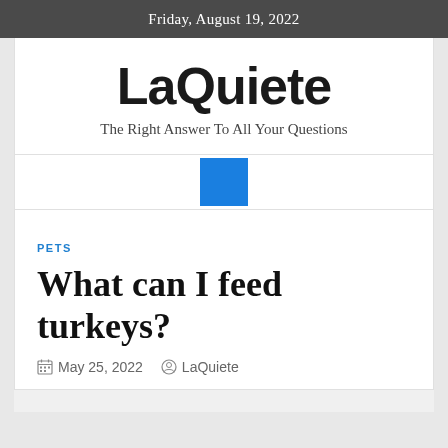Friday, August 19, 2022
LaQuiete
The Right Answer To All Your Questions
[Figure (other): Blue square navigation element in a white bar]
PETS
What can I feed turkeys?
May 25, 2022   LaQuiete